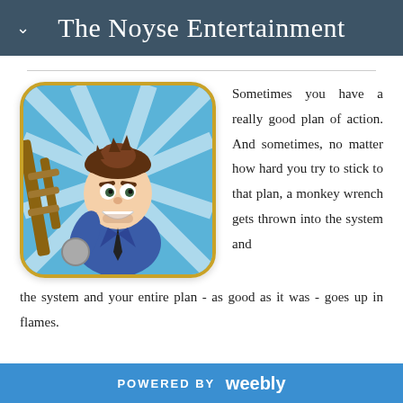The Noyse Entertainment
[Figure (illustration): Game app icon showing a cartoon male character in a blue suit holding a weapon, with a gold rounded-rectangle border on a blue striped background]
Sometimes you have a really good plan of action. And sometimes, no matter how hard you try to stick to that plan, a monkey wrench gets thrown into the system and your entire plan - as good as it was - goes up in flames.
POWERED BY weebly